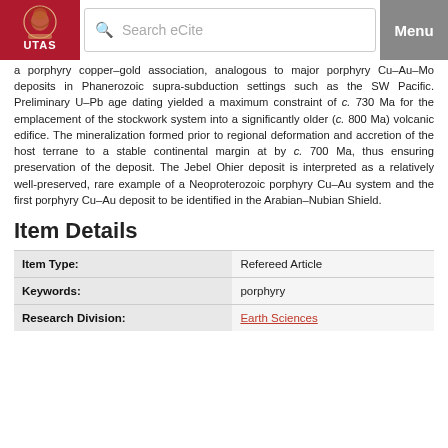UTAS — Search eCite — Menu
a porphyry copper–gold association, analogous to major porphyry Cu–Au–Mo deposits in Phanerozoic supra-subduction settings such as the SW Pacific. Preliminary U–Pb age dating yielded a maximum constraint of c. 730 Ma for the emplacement of the stockwork system into a significantly older (c. 800 Ma) volcanic edifice. The mineralization formed prior to regional deformation and accretion of the host terrane to a stable continental margin at by c. 700 Ma, thus ensuring preservation of the deposit. The Jebel Ohier deposit is interpreted as a relatively well-preserved, rare example of a Neoproterozoic porphyry Cu–Au system and the first porphyry Cu–Au deposit to be identified in the Arabian–Nubian Shield.
Item Details
|  |  |
| --- | --- |
| Item Type: | Refereed Article |
| Keywords: | porphyry |
| Research Division: | Earth Sciences |